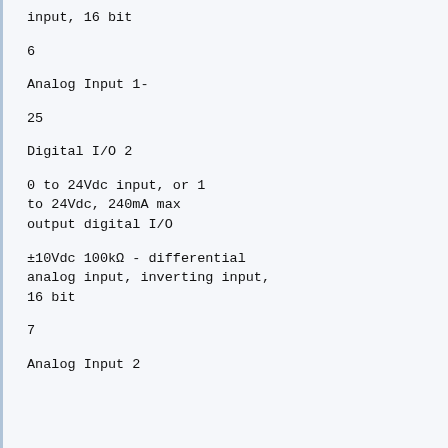input, 16 bit
6
Analog Input 1-
25
Digital I/O 2
0 to 24Vdc input, or 1
to 24Vdc, 240mA max
output digital I/O
±10Vdc 100kΩ - differential
analog input, inverting input,
16 bit
7
Analog Input 2